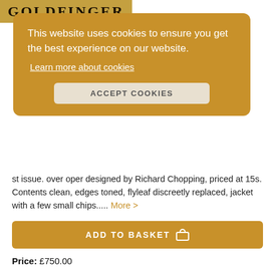[Figure (photo): Partial view of a book cover titled GOLDFINGER]
This website uses cookies to ensure you get the best experience on our website.
Learn more about cookies
ACCEPT COOKIES
st issue. over oper designed by Richard Chopping, priced at 15s. Contents clean, edges toned, flyleaf discreetly replaced, jacket with a few small chips..... More >
ADD TO BASKET
Price: £750.00
Item Details
Ask a Question